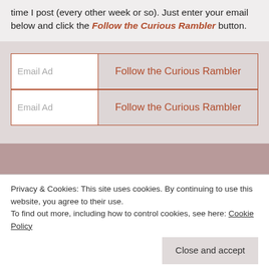time I post (every other week or so). Just enter your email below and click the Follow the Curious Rambler button.
[Figure (screenshot): Email subscription widget with two rows each containing an email address input field and a 'Follow the Curious Rambler' button]
Privacy & Cookies: This site uses cookies. By continuing to use this website, you agree to their use.
To find out more, including how to control cookies, see here: Cookie Policy
Close and accept